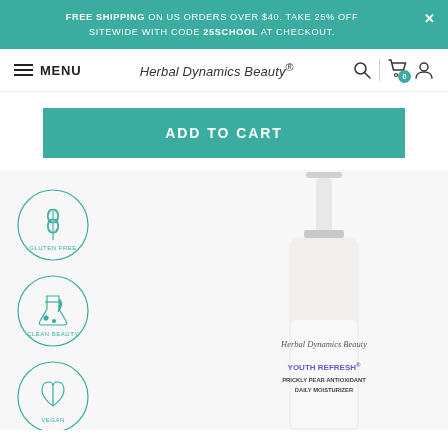FREE SHIPPING ON US ORDERS OVER $40. TAKE 25% OFF SITEWIDE WITH CODE 25SCHOOL AT CHECKOUT.
MENU | Herbal Dynamics Beauty® | [search] [cart 0] [account]
ADD TO CART
[Figure (photo): White pump bottle of Herbal Dynamics Beauty Youth Refresh Prickly Pear Antioxidant Daily Moisturizer with three certification badge icons (Gluten Free, Clean Beauty, Vegan) on the left side]